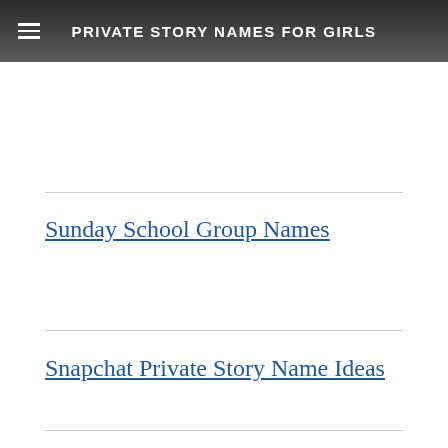PRIVATE STORY NAMES FOR GIRLS
Sunday School Group Names
Snapchat Private Story Name Ideas